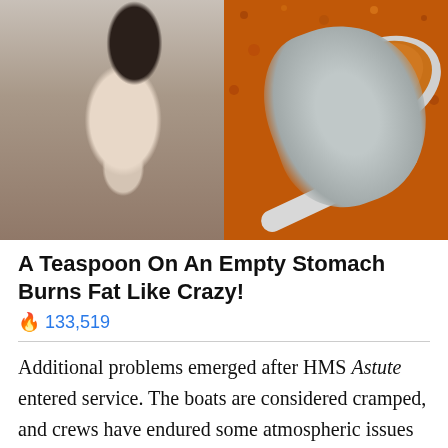[Figure (photo): Split image: left half shows a fit woman in a white tank top lifting her shirt to show her abs; right half shows a spoon filled with orange spice powder]
A Teaspoon On An Empty Stomach Burns Fat Like Crazy!
🔥 133,519
Additional problems emerged after HMS Astute entered service. The boats are considered cramped, and crews have endured some atmospheric issues (excessive temperatures) inside the subs. Problems with